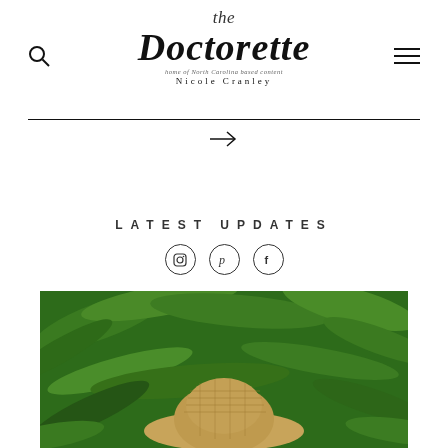[Figure (logo): The Doctorette blog logo with script/handwritten text 'the Doctorette' and subtitle 'home of North Carolina based content' and 'Nicole Cranley']
[Figure (other): Search icon (magnifying glass) on the left side of the header]
[Figure (other): Hamburger menu icon on the right side of the header]
[Figure (other): Right arrow navigation element below the divider line]
LATEST UPDATES
[Figure (other): Three circular social media icons: Instagram, Pinterest, Facebook]
[Figure (photo): Photo of a person wearing a woven straw hat surrounded by lush green tropical ferns and leafy plants]